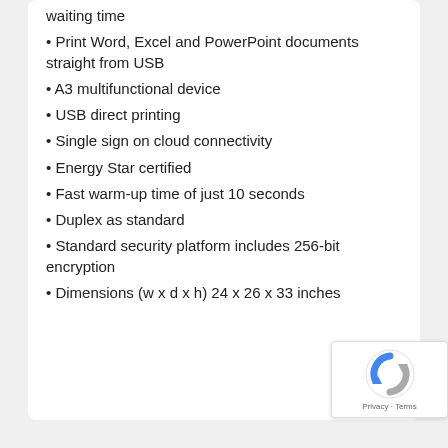waiting time
Print Word, Excel and PowerPoint documents straight from USB
A3 multifunctional device
USB direct printing
Single sign on cloud connectivity
Energy Star certified
Fast warm-up time of just 10 seconds
Duplex as standard
Standard security platform includes 256-bit encryption
Dimensions (w x d x h) 24 x 26 x 33 inches